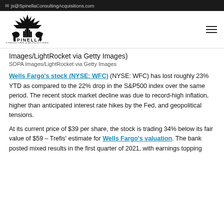js@SpinellaConsultingAcquisitions.com
[Figure (logo): Spinella Consulting & Acquisitions logo with crown and lions]
Images/LightRocket via Getty Images)
SOPA Images/LightRocket via Getty Images
Wells Fargo's stock (NYSE: WFC) (NYSE: WFC) has lost roughly 23% YTD as compared to the 22% drop in the S&P500 index over the same period. The recent stock market decline was due to record-high inflation, higher than anticipated interest rate hikes by the Fed, and geopolitical tensions.
At its current price of $39 per share, the stock is trading 34% below its fair value of $59 – Trefis' estimate for Wells Fargo's valuation. The bank posted mixed results in the first quarter of 2021, with earnings topping